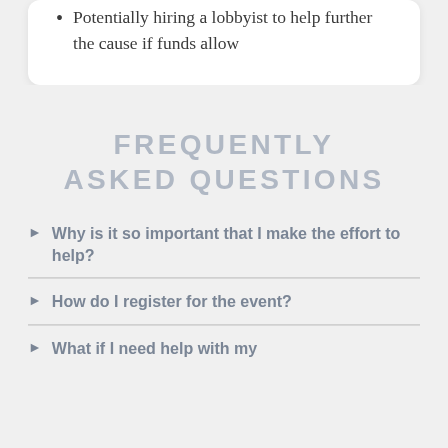Potentially hiring a lobbyist to help further the cause if funds allow
FREQUENTLY ASKED QUESTIONS
Why is it so important that I make the effort to help?
How do I register for the event?
What if I need help with my